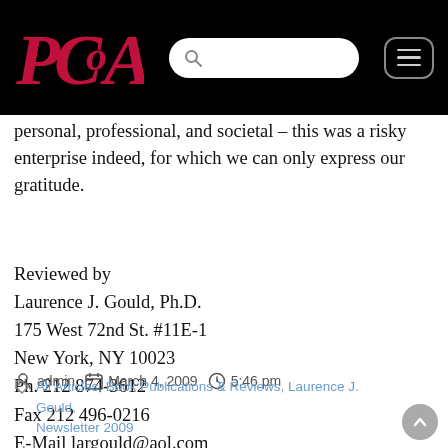PCOA [logo] [search bar] [menu button]
personal, professional, and societal – this was a risky enterprise indeed, for which we can only express our gratitude.
Reviewed by
Laurence J. Gould, Ph.D.
175 West 72nd St. #11E-1
New York, NY 10023
Ph. 212 874-3612
Fax 212 496-0216
E-Mail largould@aol.com
admin   March 4, 2009   5:46 pm
All Articles, Book Publications & Reviews, Laurence J. Gould, Newsletter 2009